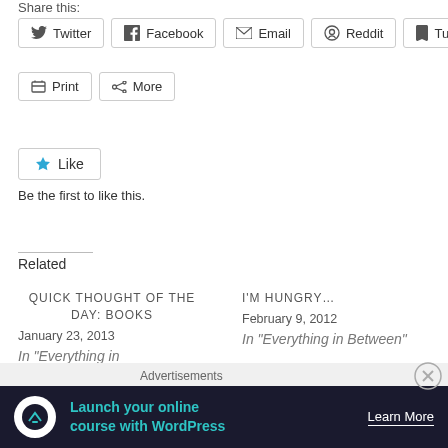Share this:
[Figure (other): Social share buttons: Twitter, Facebook, Email, Reddit, Tumblr, Print, More]
[Figure (other): Like button widget with star icon and text 'Be the first to like this.']
Related
QUICK THOUGHT OF THE DAY: BOOKS
January 23, 2013
In "Everything in
I'M HUNGRY…
February 9, 2012
In "Everything in Between"
Advertisements
[Figure (other): Ad banner: Launch your online course with WordPress — Learn More]